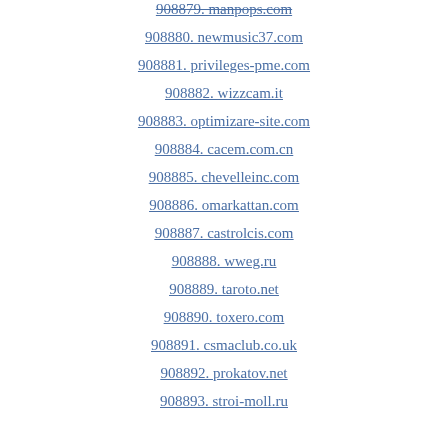908879. manpops.com
908880. newmusic37.com
908881. privileges-pme.com
908882. wizzcam.it
908883. optimizare-site.com
908884. cacem.com.cn
908885. chevelleinc.com
908886. omarkattan.com
908887. castrolcis.com
908888. wweg.ru
908889. taroto.net
908890. toxero.com
908891. csmaclub.co.uk
908892. prokatov.net
908893. stroi-moll.ru